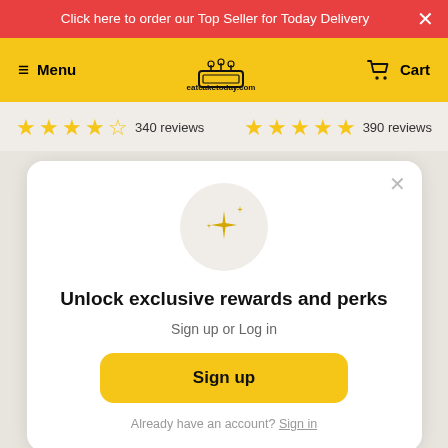Click here to order our Top Seller for Today Delivery
[Figure (screenshot): Yellow navigation bar with hamburger menu (Menu), eatcaketoday.com logo, and Cart icon]
☆☆☆☆☆ 340 reviews   ☆☆☆☆☆ 390 reviews
[Figure (infographic): Modal popup with sparkle icon, title 'Unlock exclusive rewards and perks', subtitle 'Sign up or Log in', Sign up button, and 'Already have an account? Sign in' footer]
Unlock exclusive rewards and perks
Sign up or Log in
Sign up
Already have an account? Sign in